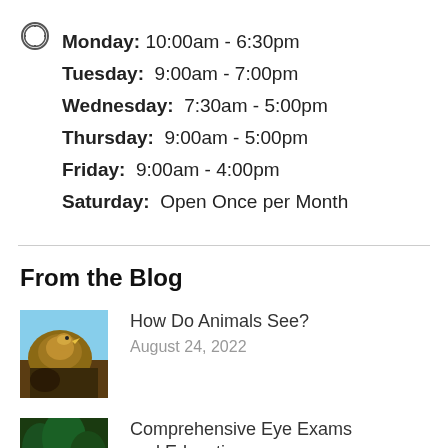Monday: 10:00am - 6:30pm
Tuesday: 9:00am - 7:00pm
Wednesday: 7:30am - 5:00pm
Thursday: 9:00am - 5:00pm
Friday: 9:00am - 4:00pm
Saturday: Open Once per Month
From the Blog
[Figure (photo): Photo of an eagle against blue sky background]
How Do Animals See?
August 24, 2022
[Figure (photo): Photo of trees or foliage]
Comprehensive Eye Exams and Education